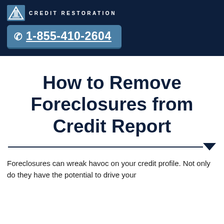CREDIT RESTORATION
1-855-410-2604
How to Remove Foreclosures from Credit Report
Foreclosures can wreak havoc on your credit profile. Not only do they have the potential to drive your